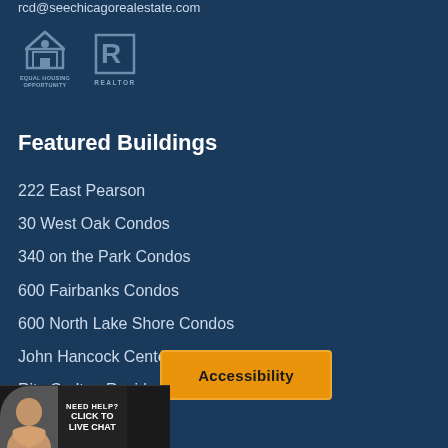rcd@seechicagorealestate.com
[Figure (logo): Equal Housing Opportunity logo and REALTOR logo side by side]
Featured Buildings
222 East Pearson
30 West Oak Condos
340 on the Park Condos
600 Fairbanks Condos
600 North Lake Shore Condos
John Hancock Center Condos
Ritz Carlton Residences Condos
The Grant Condos
The Columbian Condos
Condos
[Figure (other): Accessibility button overlay with orange background]
[Figure (other): Live chat widget with avatar photo and NEED HELP? CLICK TO LIVE CHAT text]